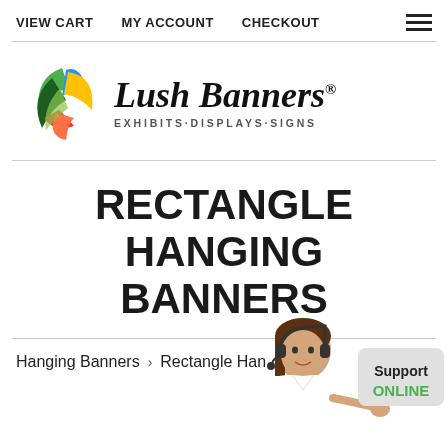VIEW CART   MY ACCOUNT   CHECKOUT
[Figure (logo): Lush Banners logo with colorful leaf/feather graphic and text 'Lush Banners® EXHIBITS·DISPLAYS·SIGNS']
RECTANGLE HANGING BANNERS
Hanging Banners › Rectangle Hanging Banners
[Figure (illustration): Customer support representative (woman with headset) with 'Support ONLINE' button/widget in bottom right corner]